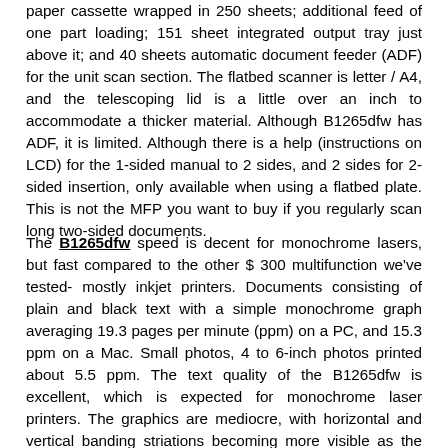paper cassette wrapped in 250 sheets; additional feed of one part loading; 151 sheet integrated output tray just above it; and 40 sheets automatic document feeder (ADF) for the unit scan section. The flatbed scanner is letter / A4, and the telescoping lid is a little over an inch to accommodate a thicker material. Although B1265dfw has ADF, it is limited. Although there is a help (instructions on LCD) for the 1-sided manual to 2 sides, and 2 sides for 2-sided insertion, only available when using a flatbed plate. This is not the MFP you want to buy if you regularly scan long two-sided documents.
The B1265dfw speed is decent for monochrome lasers, but fast compared to the other $ 300 multifunction we've tested- mostly inkjet printers. Documents consisting of plain and black text with a simple monochrome graph averaging 19.3 pages per minute (ppm) on a PC, and 15.3 ppm on a Mac. Small photos, 4 to 6-inch photos printed about 5.5 ppm. The text quality of the B1265dfw is excellent, which is expected for monochrome laser printers. The graphics are mediocre, with horizontal and vertical banding striations becoming more visible as the image size increases. Scanning is fast, good quality, and you can scan colours and monochrome. Copying is obviously limited to black and white and suffers